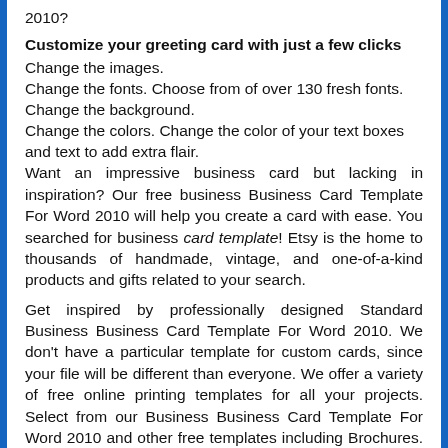2010?
Customize your greeting card with just a few clicks
Change the images.
Change the fonts. Choose from of over 130 fresh fonts.
Change the background.
Change the colors. Change the color of your text boxes and text to add extra flair.
Want an impressive business card but lacking in inspiration? Our free business Business Card Template For Word 2010 will help you create a card with ease. You searched for business card template! Etsy is the home to thousands of handmade, vintage, and one-of-a-kind products and gifts related to your search.
Get inspired by professionally designed Standard Business Business Card Template For Word 2010. We don’t have a particular template for custom cards, since your file will be different than everyone. We offer a variety of free online printing templates for all your projects. Select from our Business Business Card Template For Word 2010 and other free templates including Brochures. Choose from one of our